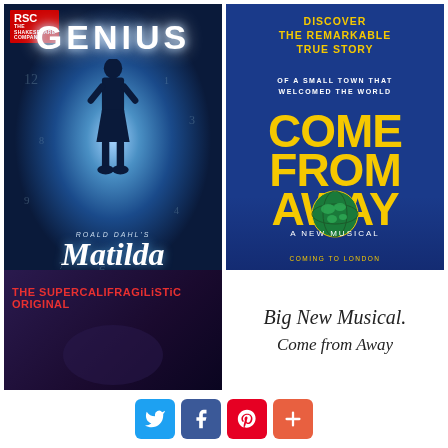[Figure (illustration): Matilda the Musical poster: dark blue background with glowing white spotlight, silhouette of a girl, 'GENIUS' text at top, RSC badge top-left, 'Roald Dahl's Matilda THE MUSICAL CAMBRIDGE THEATRE' text at bottom]
[Figure (illustration): Come From Away poster: dark blue background, yellow text reading 'DISCOVER THE REMARKABLE TRUE STORY OF A SMALL TOWN THAT WELCOMED THE WORLD', large yellow title 'COME FROM AWAY', globe graphic, 'A NEW MUSICAL', 'COMING TO LONDON FROM 30 JANUARY 2019 | PHOENIX THEATRE']
[Figure (illustration): Mary Poppins partial poster: dark purple/navy background, red text 'THE SUPERCALIFRAGILISTIC ORIGINAL', partially visible umbrella/hat at bottom]
[Figure (illustration): Script-style text reading 'Big New Musical.' on white background]
[Figure (infographic): Social sharing buttons: Twitter (blue bird), Facebook (blue f), Pinterest (red P), Plus button (orange/red +)]